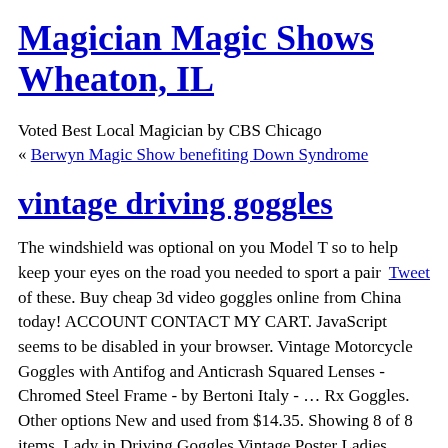Magician Magic Shows Wheaton, IL
Voted Best Local Magician by CBS Chicago
« Berwyn Magic Show benefiting Down Syndrome
vintage driving goggles
The windshield was optional on you Model T so to help keep your eyes on the road you needed to sport a pair of these. Buy cheap 3d video goggles online from China today! ACCOUNT CONTACT MY CART. JavaScript seems to be disabled in your browser. Vintage Motorcycle Goggles with Antifog and Anticrash Squared Lenses - Chromed Steel Frame - by Bertoni Italy - … Rx Goggles. Other options New and used from $14.35. Showing 8 of 8 items. Lady in Driving Goggles Vintage Poster Ladies Home Journal August 1914 Magazine Cover Poster Print BellaMercato. We offers vintage driving goggles products. You can change your preferences any time in your Privacy Settings. Did you scroll all this way to get facts about antique goggles? Read our Cookie Policy. Take full advantage of our site features by enabling